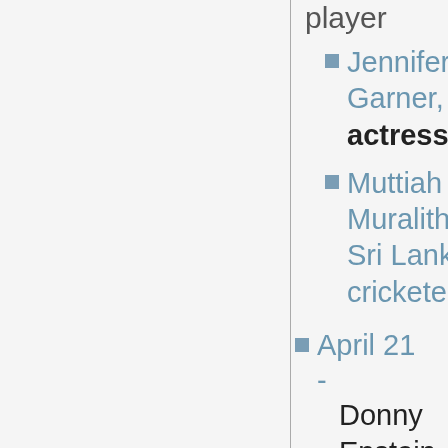player
Jennifer Garner, actress
Muttiah Muralitharan, Sri Lankan cricketer
April 21 - Donny Epstein, producer and